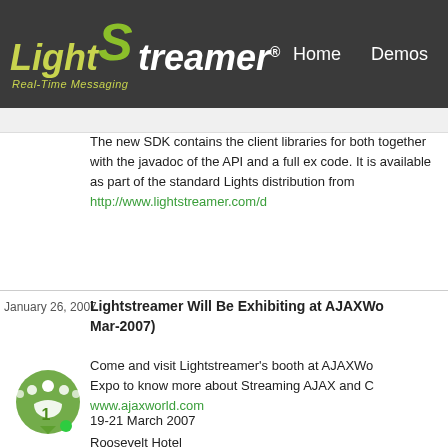LightStreamer® Real-Time Messaging | Home | Demos
The new SDK contains the client libraries for both together with the javadoc of the API and a full ex code. It is available as part of the standard Lights distribution from http://www.lightstreamer.com/d
January 26, 2007  Lightstreamer Will Be Exhibiting at AJAXWo Mar-2007)
Come and visit Lightstreamer's booth at AJAXWo Expo to know more about Streaming AJAX and C www.ajaxworld.com
19-21 March 2007
Roosevelt Hotel
New York City
NY - USA
[Figure (illustration): Green circular social/group icon with the number 1 and a small green dot badge]